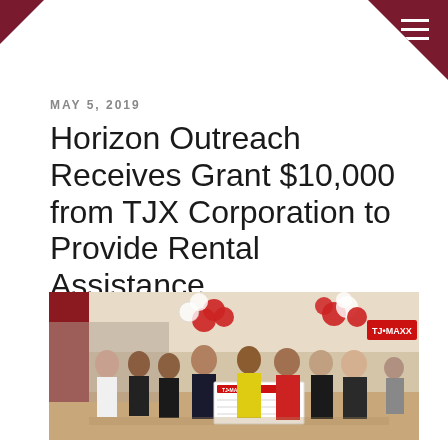MAY 5, 2019
Horizon Outreach Receives Grant $10,000 from TJX Corporation to Provide Rental Assistance
[Figure (photo): Group photo of approximately 8 people inside a TJ Maxx store, holding a large ceremonial check from TJ Maxx. Red and white balloons are visible in the background. The store interior is visible with merchandise shelves.]